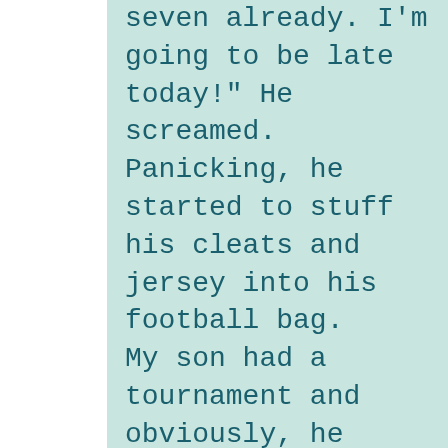seven already. I'm going to be late today!" He screamed. Panicking, he started to stuff his cleats and jersey into his football bag. My son had a tournament and obviously, he didn't want to be late. "Don't worry, that